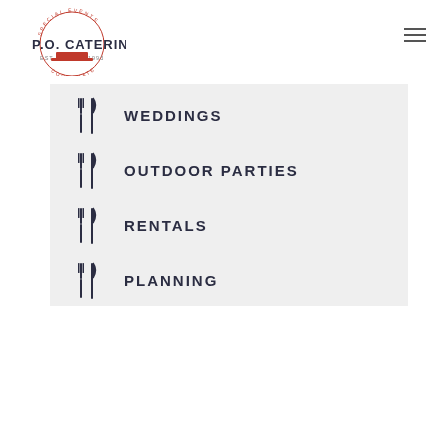[Figure (logo): P.O. Catering logo with circular text reading SPECIAL EVENTS and CORPORATE, with EST. 1993 and a red tray/chafing dish icon in the center]
WEDDINGS
OUTDOOR PARTIES
RENTALS
PLANNING